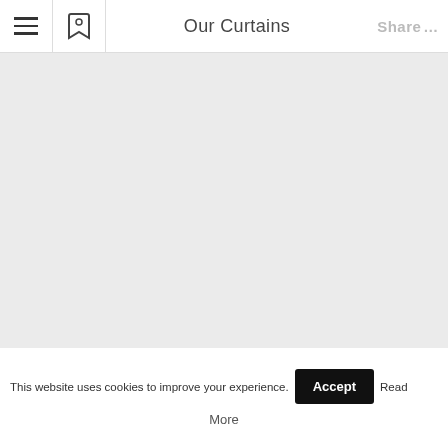Our Curtains
[Figure (other): Large light gray content area representing a curtains product page background image placeholder]
This website uses cookies to improve your experience.  Accept  Read More